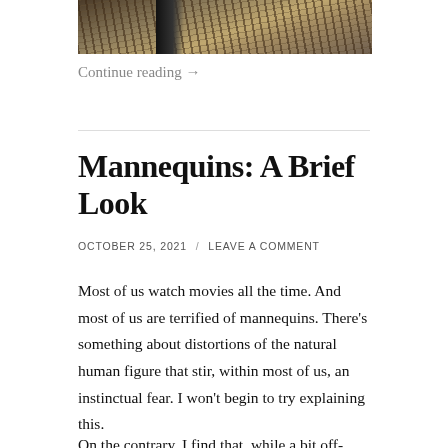[Figure (photo): Partial view of a sandy/earthy textured photograph, cropped at top of page]
Continue reading →
Mannequins: A Brief Look
OCTOBER 25, 2021 / LEAVE A COMMENT
Most of us watch movies all the time. And most of us are terrified of mannequins. There's something about distortions of the natural human figure that stir, within most of us, an instinctual fear. I won't begin to try explaining this.
On the contrary, I find that, while a bit off-putting,